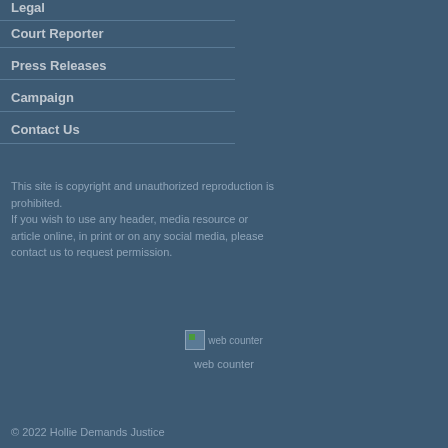Legal
Court Reporter
Press Releases
Campaign
Contact Us
This site is copyright and unauthorized reproduction is prohibited.
If you wish to use any header, media resource or article online, in print or on any social media, please contact us to request permission.
[Figure (other): Broken web counter image placeholder with alt text 'web counter']
web counter
© 2022 Hollie Demands Justice